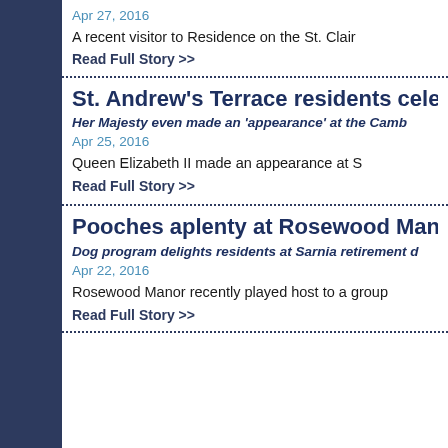Apr 27, 2016
A recent visitor to Residence on the St. Clair
Read Full Story >>
St. Andrew's Terrace residents celeb...
Her Majesty even made an 'appearance' at the Camb...
Apr 25, 2016
Queen Elizabeth II made an appearance at S...
Read Full Story >>
Pooches aplenty at Rosewood Mano...
Dog program delights residents at Sarnia retirement d...
Apr 22, 2016
Rosewood Manor recently played host to a group
Read Full Story >>